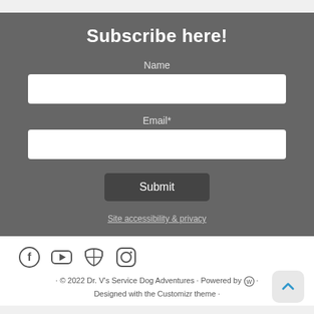Subscribe here!
Name
Email*
Submit
Site accessibility & privacy
[Figure (infographic): Social media icons: Facebook, YouTube, RSS feed, Instagram]
· © 2022 Dr. V's Service Dog Adventures · Powered by [WordPress] · Designed with the Customizr theme ·